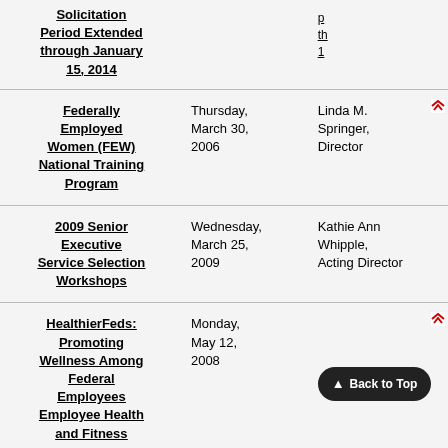| Title | Date | Director |  |
| --- | --- | --- | --- |
| Solicitation Period Extended through January 15, 2014 |  | p... th... 1... |  |
| Federally Employed Women (FEW) National Training Program | Thursday, March 30, 2006 | Linda M. Springer, Director |  |
| 2009 Senior Executive Service Selection Workshops | Wednesday, March 25, 2009 | Kathie Ann Whipple, Acting Director |  |
| HealthierFeds: Promoting Wellness Among Federal Employees Employee Health and Fitness | Monday, May 12, 2008 |  |  |